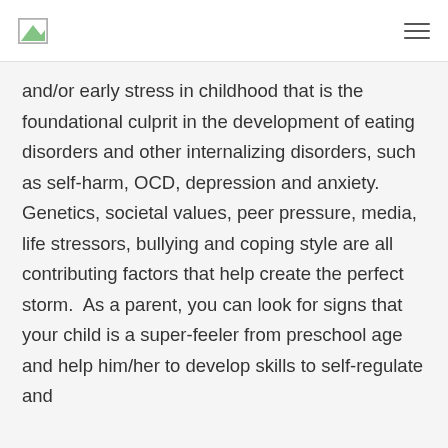and/or early stress in childhood that is the foundational culprit in the development of eating disorders and other internalizing disorders, such as self-harm, OCD, depression and anxiety. Genetics, societal values, peer pressure, media, life stressors, bullying and coping style are all contributing factors that help create the perfect storm.  As a parent, you can look for signs that your child is a super-feeler from preschool age and help him/her to develop skills to self-regulate and